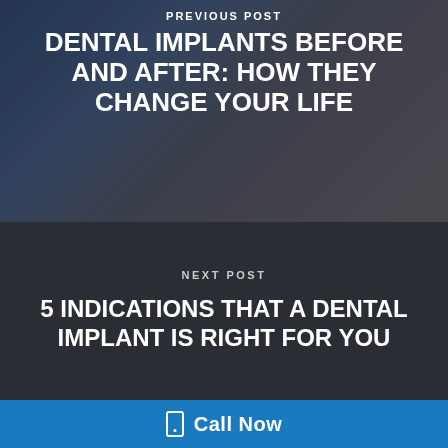[Figure (photo): A doctor in blue scrubs talking with a smiling patient, shown against a clinical background. The image serves as the background for the Previous Post navigation section.]
PREVIOUS POST
DENTAL IMPLANTS BEFORE AND AFTER: HOW THEY CHANGE YOUR LIFE
NEXT POST
5 INDICATIONS THAT A DENTAL IMPLANT IS RIGHT FOR YOU
Call Now